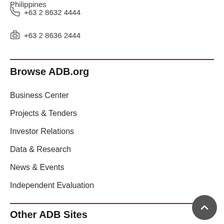Philippines
+63 2 8632 4444
+63 2 8636 2444
Browse ADB.org
Business Center
Projects & Tenders
Investor Relations
Data & Research
News & Events
Independent Evaluation
Other ADB Sites